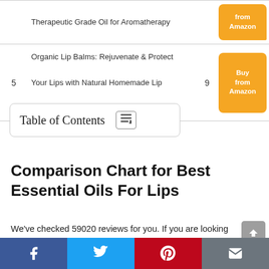| # | Title | Rating | Buy |
| --- | --- | --- | --- |
|  | Therapeutic Grade Oil for Aromatherapy |  | Buy from Amazon |
| 5 | Organic Lip Balms: Rejuvenate & Protect Your Lips with Natural Homemade Lip Balm Recipes (Organic Skin Products | 9 | Buy from Amazon |
Table of Contents
Comparison Chart for Best Essential Oils For Lips
We've checked 59020 reviews for you. If you are looking for the Essential Oils For Lips than this review article may help you.